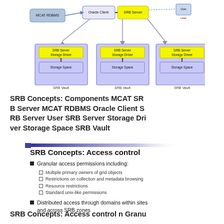[Figure (schematic): SRB architecture diagram showing MCAT RDBMS, Oracle Client, SRB Server connected to a User workstation, and three SRB Vault boxes each containing SRB Server, Storage Driver, and Storage Space components.]
SRB Concepts: Components MCAT SRB Server MCAT RDBMS Oracle Client SRB Server User SRB Server Storage Driver Storage Space SRB Vault
[Figure (other): Decorative slide divider with blue gradient bar]
SRB Concepts: Access control
Granular access permissions including:
Multiple primary owners of grid objects
Restrictions on collection and metadata browsing
Resource restrictions
Standard unix-like permissions
Distributed access through domains within sites and across SRB zones
SRB Concepts: Access control n Granu